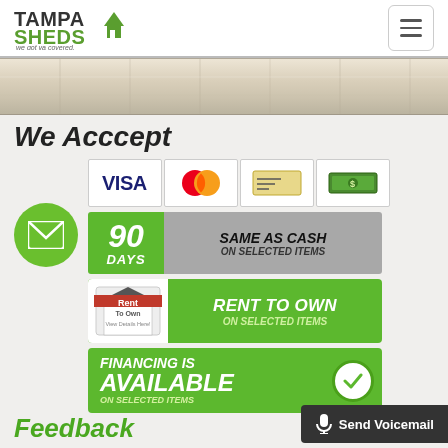[Figure (logo): Tampa Sheds logo with house/shed icon and tagline 'we got ya covered.']
[Figure (illustration): Hamburger menu button (three horizontal lines) in a rounded rectangle box]
[Figure (photo): Wood plank texture banner strip]
We Acccept
[Figure (illustration): Green circle with white envelope/email icon]
[Figure (illustration): Payment method icons: VISA card, MasterCard, check/money order, cash]
[Figure (infographic): 90 DAYS SAME AS CASH ON SELECTED ITEMS banner]
[Figure (infographic): RENT TO OWN ON SELECTED ITEMS banner with Rent To Own logo]
[Figure (infographic): FINANCING IS AVAILABLE ON SELECTED ITEMS banner with checkmark]
[Figure (illustration): Send Voicemail button with microphone icon]
Feedback